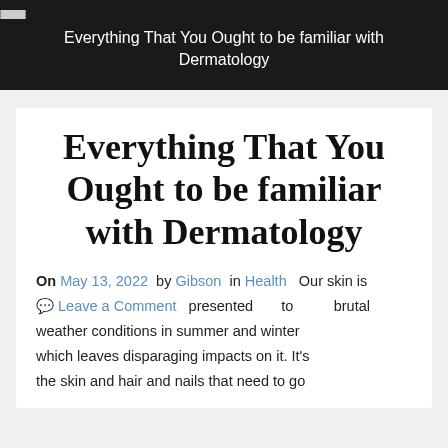Everything That You Ought to be familiar with Dermatology
Everything That You Ought to be familiar with Dermatology
On May 13, 2022 by Gibson in Health  Our skin is  Leave a Comment presented to brutal weather conditions in summer and winter which leaves disparaging impacts on it. It's the skin and hair and nails that need to go